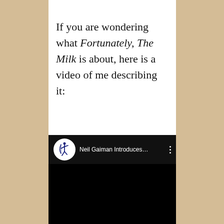If you are wondering what Fortunately, The Milk is about, here is a video of me describing it:
[Figure (screenshot): A YouTube video embed showing a dark/black video player with a channel icon (white circle with blue archer figure) and title text 'Neil Gaiman Introduces…' with a three-dot menu icon, all on a black background.]